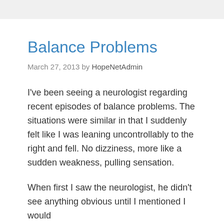Balance Problems
March 27, 2013 by HopeNetAdmin
I've been seeing a neurologist regarding recent episodes of balance problems. The situations were similar in that I suddenly felt like I was leaning uncontrollably to the right and fell. No dizziness, more like a sudden weakness, pulling sensation.
When first I saw the neurologist, he didn't see anything obvious until I mentioned I would